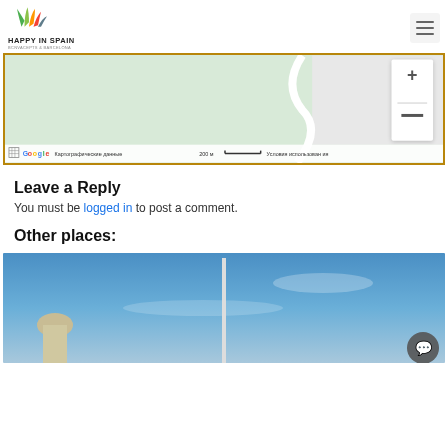Happy in Spain - header with logo and menu
[Figure (map): Google Maps screenshot showing a green area with a winding road, zoom controls on the right, and a map footer bar with Google logo, cartographic data credit, 200m scale bar, and usage terms in Russian: Картографические данные  200 м  Условия использования]
Leave a Reply
You must be logged in to post a comment.
Other places:
[Figure (photo): Photo of a blue sky with a building with dome on the left and a tall pole in the center]